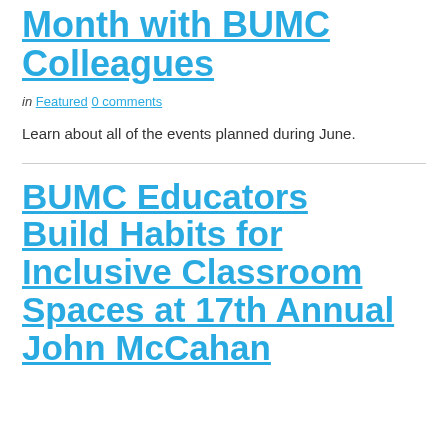Month with BUMC Colleagues
in Featured 0 comments
Learn about all of the events planned during June.
BUMC Educators Build Habits for Inclusive Classroom Spaces at 17th Annual John McCahan